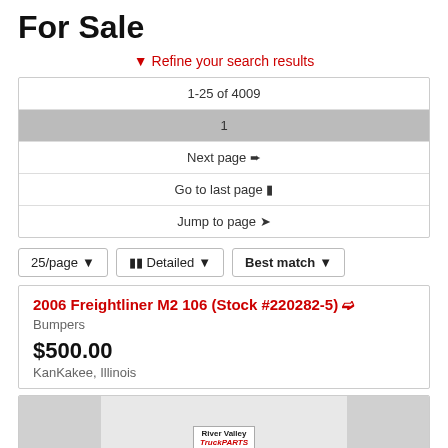For Sale
▼ Refine your search results
| 1-25 of 4009 |
| 1 |
| Next page › |
| Go to last page ⏭ |
| Jump to page ➤ |
25/page ▼   ≡ Detailed ▼   Best match ▼
2006 Freightliner M2 106 (Stock #220282-5) ›
Bumpers
$500.00
KanKakee, Illinois
[Figure (photo): Partial view of a truck part with a River Valley TruckPARTS label visible]